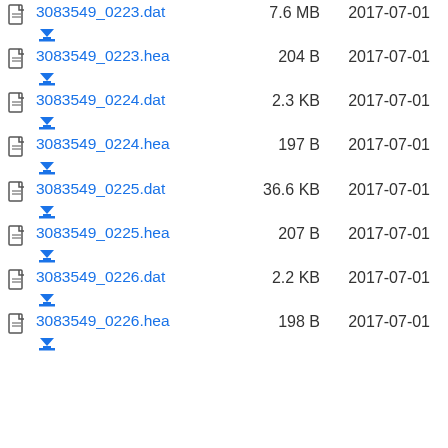3083549_0223.dat  7.6 MB  2017-07-01
3083549_0223.hea  204 B  2017-07-01
3083549_0224.dat  2.3 KB  2017-07-01
3083549_0224.hea  197 B  2017-07-01
3083549_0225.dat  36.6 KB  2017-07-01
3083549_0225.hea  207 B  2017-07-01
3083549_0226.dat  2.2 KB  2017-07-01
3083549_0226.hea  198 B  2017-07-01